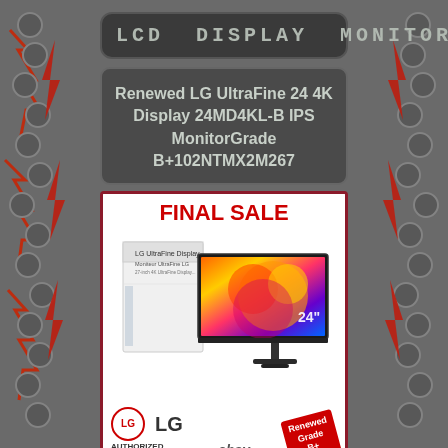LCD DISPLAY MONITOR
Renewed LG UltraFine 24 4K Display 24MD4KL-B IPS MonitorGrade B+102NTMX2M267
[Figure (photo): Product listing image showing LG UltraFine 24-inch 4K monitor with its box, LG Authorized Refurbisher logo, eBay logo, and 'Renewed Grade B+' badge. Header reads FINAL SALE in red.]